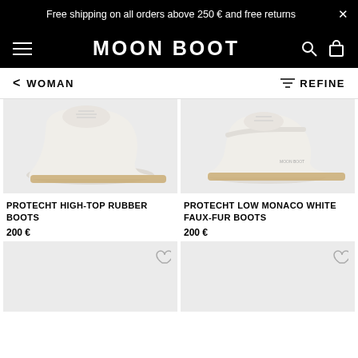Free shipping on all orders above 250 € and free returns
[Figure (logo): Moon Boot logo and navigation bar with hamburger menu, search and cart icons]
WOMAN   REFINE
[Figure (photo): PROTECHT HIGH-TOP RUBBER BOOTS - white rubber boot on light gray background]
[Figure (photo): PROTECHT LOW MONACO WHITE FAUX-FUR BOOTS - white boot on light gray background]
PROTECHT HIGH-TOP RUBBER BOOTS
200 €
PROTECHT LOW MONACO WHITE FAUX-FUR BOOTS
200 €
[Figure (photo): Bottom left product image placeholder - light gray]
[Figure (photo): Bottom right product image placeholder - light gray]